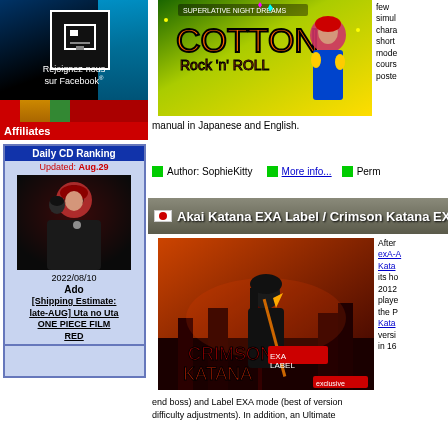[Figure (illustration): Facebook banner: black background with floppy disk icon, text 'Rejoignez-nous sur Facebook®']
Affiliates
[Figure (photo): Decorative flag/banner strip]
Daily CD Ranking
Updated: Aug.29
[Figure (illustration): CD cover art showing two anime characters in black and white]
2022/08/10
Ado
[Shipping Estimate: late-AUG] Uta no Uta ONE PIECE FILM RED
[Figure (illustration): Cotton Rock 'n' Roll game cover with anime girl and colorful title]
manual in Japanese and English.
Author: SophieKitty   More info...   Perm
🇯🇵 Akai Katana EXA Label / Crimson Katana EXA La
[Figure (illustration): Crimson Katana EXA Label game cover art with dark anime character holding sword]
After exA-A Kata its ho 2012 playe the P Kata versi in 16
end boss) and Label EXA mode (best of version difficulty adjustments). In addition, an Ultimate